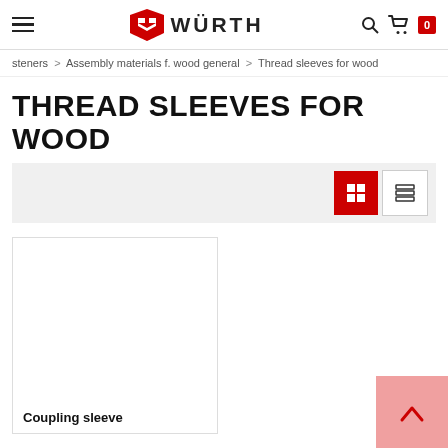Würth — Thread sleeves for wood
steners > Assembly materials f. wood general > Thread sleeves for wood
THREAD SLEEVES FOR WOOD
[Figure (screenshot): View toggle bar with grid (active, red background) and list view icons]
[Figure (illustration): Product card for Coupling sleeve — white product image placeholder with bold product name label]
[Figure (illustration): Back to top button — pink/red chevron up arrow button at bottom right]